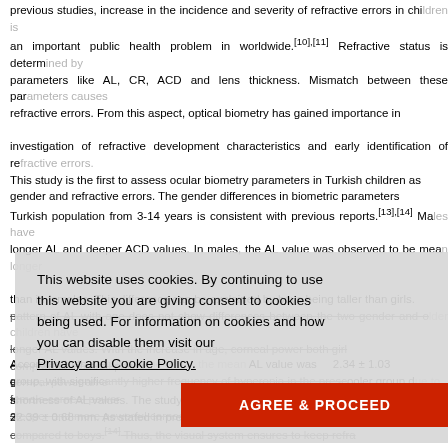previous studies, increase in the incidence and severity of refractive errors in children is an important public health problem in worldwide.[10],[11] Refractive status is determined by parameters like AL, CR, ACD and lens thickness. Mismatch between these parameters causes refractive errors. From this aspect, optical biometry has gained importance in investigation of refractive development characteristics and early identification of refractive errors. This study is the first to assess ocular biometry parameters in Turkish children as related to gender and refractive errors. The gender differences in biometric parameters in Turkish population from 3-14 years is consistent with previous reports.[13],[14] Males have longer AL and deeper ACD values. In males, the AL value was observed to be mean 0.44 mm longer than in females. This difference can be explained by boys being taller than girls. The pattern of AL with age does not show differences between the two gender and older children have longer AL values. With the increase in age, corneal power both girls and boys corneal power comparable corneal power that girls have corneal power an 0.2 D higher female corneal power most important steeper and more powerful cornea. In girls is associated with girls having shorter AL compared to boys.[14] Thus, the visual system ensures to keep refraction in normal and emmetropization mechanism.
[Figure (screenshot): Cookie consent overlay with text 'This website uses cookies. By continuing to use this website you are giving consent to cookies being used. For information on cookies and how you can disable them visit our Privacy and Cookie Policy.' and a red 'AGREE & PROCEED' button.]
According to the results of the study, the mean AL value was 22.34 ± 1.03 in preschooler group, with significantly higher frequency of hyperopia in the preschooler group due to the shortness of AL values. The study of preschool children by Guo et al.[7] identified mean AL 22.39 ± 0.68 mm. As stated in previous studies, hyperopia is observed frequently